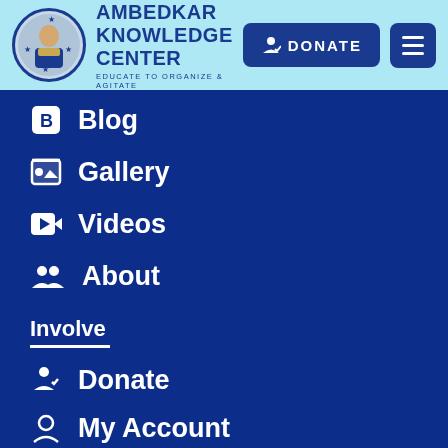[Figure (logo): Ambedkar Knowledge Center logo with circular photo of Dr. Ambedkar, text AMBEDKAR KNOWLEDGE CENTER and tagline EDUCATE TO ORGANIZE & AGITATE, with DONATE button and hamburger menu]
Blog
Gallery
Videos
About
Involve
Donate
My Account
Register as Volunteer